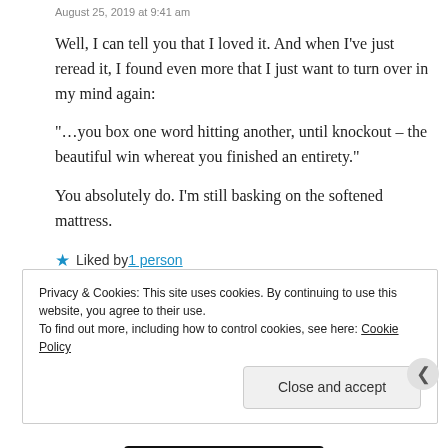August 25, 2019 at 9:41 am
Well, I can tell you that I loved it. And when I've just reread it, I found even more that I just want to turn over in my mind again:
“…you box one word hitting another, until knockout – the beautiful win whereat you finished an entirety.”
You absolutely do. I’m still basking on the softened mattress.
★ Liked by 1 person
Privacy & Cookies: This site uses cookies. By continuing to use this website, you agree to their use. To find out more, including how to control cookies, see here: Cookie Policy